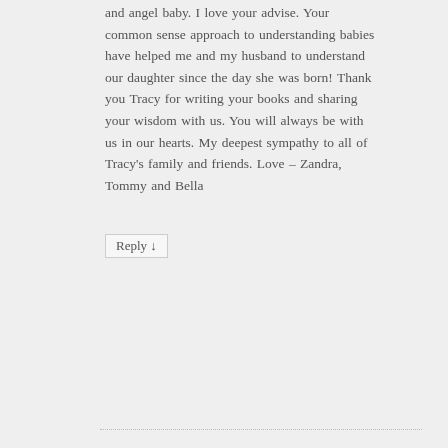and angel baby. I love your advise. Your common sense approach to understanding babies have helped me and my husband to understand our daughter since the day she was born! Thank you Tracy for writing your books and sharing your wisdom with us. You will always be with us in our hearts. My deepest sympathy to all of Tracy’s family and friends. Love – Zandra, Tommy and Bella
Reply ↓